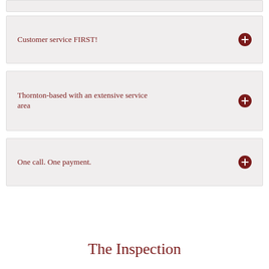Customer service FIRST!
Thornton-based with an extensive service area
One call. One payment.
The Inspection